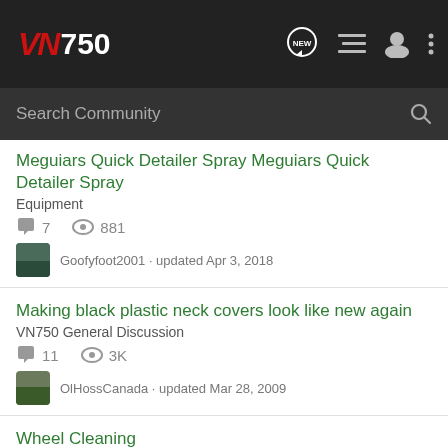VN750 - Search Community
Meguiars Quick Detailer Spray | Equipment | 7 comments | 881 views | Goofyfoot2001 · updated Apr 3, 2018
Making black plastic neck covers look like new again | VN750 General Discussion | 11 comments | 3K views | OlHossCanada · updated Mar 28, 2009
Wheel Cleaning | Wheels, Suspension and Brakes